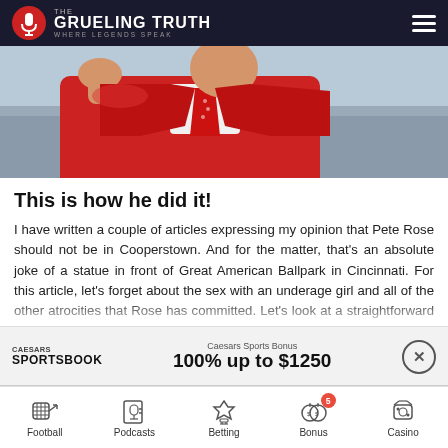THE GRUELING TRUTH — WHERE LEGENDS SPEAK
[Figure (photo): Man in red blazer with hand raised, crowd in background]
This is how he did it!
I have written a couple of articles expressing my opinion that Pete Rose should not be in Cooperstown. And for the matter, that's an absolute joke of a statue in front of Great American Ballpark in Cincinnati. For this article, let's forget about the sex with an underage girl and all of the other atrocities that Rose has committed. Let's look at a straightforward question. Did Rose bet against the Reds to win? Rose fans have a hard time
Caesars Sports Bonus
100% up to $1250
Football | Podcasts | Betting | Bonus 5 | Casino